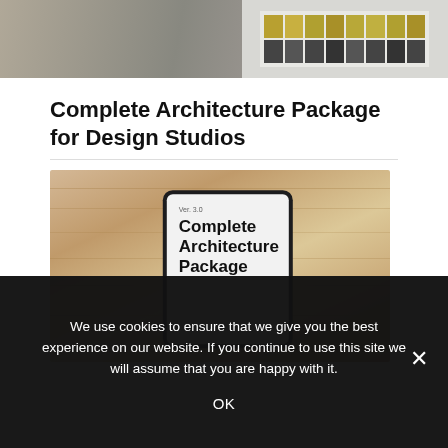[Figure (photo): Top banner image showing a gray/marble surface on the left and a grid of small colored squares on a light background on the right]
Complete Architecture Package for Design Studios
[Figure (photo): A hand holding a tablet against a wooden background. The tablet screen shows 'Ver. 3.0 Complete Architecture Package']
We use cookies to ensure that we give you the best experience on our website. If you continue to use this site we will assume that you are happy with it.
OK